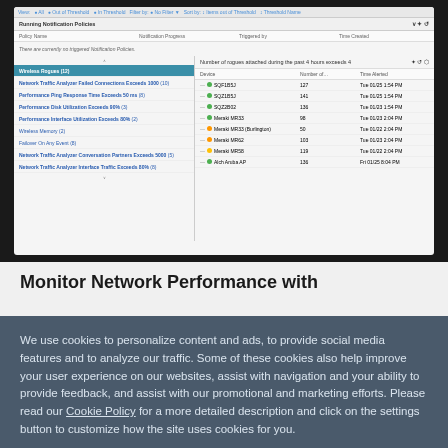[Figure (screenshot): Network monitoring software dashboard screenshot showing Running Notification Policies panel and a list of wireless rogues, network traffic, performance metrics alerts on left panel, and 'Number of rogues attached during the past 4 hours exceeds 4' table on right with device names, numbers, and timestamps.]
Monitor Network Performance with
We use cookies to personalize content and ads, to provide social media features and to analyze our traffic. Some of these cookies also help improve your user experience on our websites, assist with navigation and your ability to provide feedback, and assist with our promotional and marketing efforts. Please read our Cookie Policy for a more detailed description and click on the settings button to customize how the site uses cookies for you.
ACCEPT COOKIES
COOKIES SETTINGS